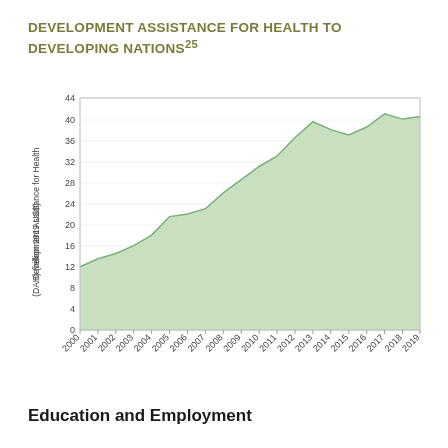DEVELOPMENT ASSISTANCE FOR HEALTH TO DEVELOPING NATIONS25
[Figure (area-chart): Development Assistance for Health to Developing Nations]
Education and Employment